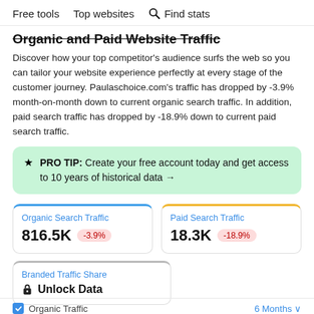Free tools   Top websites   🔍 Find stats
Organic and Paid Website Traffic
Discover how your top competitor's audience surfs the web so you can tailor your website experience perfectly at every stage of the customer journey. Paulaschoice.com's traffic has dropped by -3.9% month-on-month down to current organic search traffic. In addition, paid search traffic has dropped by -18.9% down to current paid search traffic.
★ PRO TIP: Create your free account today and get access to 10 years of historical data →
| Organic Search Traffic | Paid Search Traffic |
| --- | --- |
| 816.5K  -3.9% | 18.3K  -18.9% |
| Branded Traffic Share |
| --- |
| 🔒 Unlock Data |
Organic Traffic   6 Months ∨